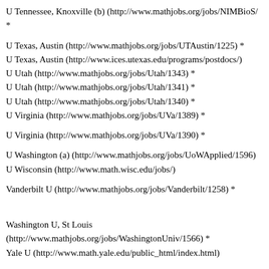U Tennessee, Knoxville (b) (http://www.mathjobs.org/jobs/NIMBioS/ *
U Texas, Austin (http://www.mathjobs.org/jobs/UTAustin/1225) *
U Texas, Austin (http://www.ices.utexas.edu/programs/postdocs/)
U Utah (http://www.mathjobs.org/jobs/Utah/1343) *
U Utah (http://www.mathjobs.org/jobs/Utah/1341) *
U Utah (http://www.mathjobs.org/jobs/Utah/1340) *
U Virginia (http://www.mathjobs.org/jobs/UVa/1389) *
U Virginia (http://www.mathjobs.org/jobs/UVa/1390) *
U Washington (a) (http://www.mathjobs.org/jobs/UoWApplied/1596)
U Wisconsin (http://www.math.wisc.edu/jobs/)
Vanderbilt U (http://www.mathjobs.org/jobs/Vanderbilt/1258) *
Washington U, St Louis (http://www.mathjobs.org/jobs/WashingtonUniv/1566) *
Yale U (http://www.math.yale.edu/public_html/index.html)